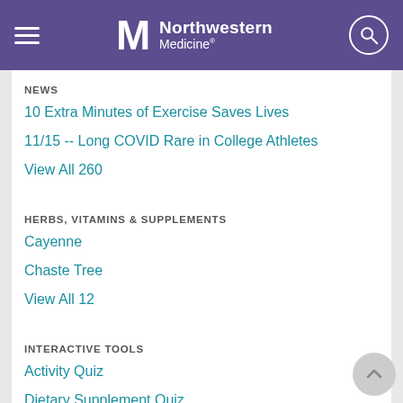Northwestern Medicine
NEWS
10 Extra Minutes of Exercise Saves Lives
11/15 -- Long COVID Rare in College Athletes
View All 260
HERBS, VITAMINS & SUPPLEMENTS
Cayenne
Chaste Tree
View All 12
INTERACTIVE TOOLS
Activity Quiz
Dietary Supplement Quiz
View All 4